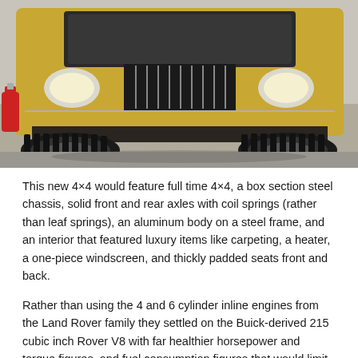[Figure (photo): Front view of a classic Range Rover (yellow/gold color) with large off-road tires, parked in a garage. A red fire extinguisher is visible on the left.]
This new 4×4 would feature full time 4×4, a box section steel chassis, solid front and rear axles with coil springs (rather than leaf springs), an aluminum body on a steel frame, and an interior that featured luxury items like carpeting, a heater, a one-piece windscreen, and thickly padded seats front and back.
Rather than using the 4 and 6 cylinder inline engines from the Land Rover family they settled on the Buick-derived 215 cubic inch Rover V8 with far healthier horsepower and torque figures, and fuel consumption figures that would limit them to suitably wealthy